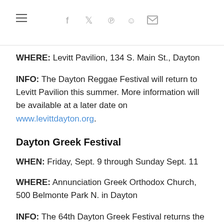Navigation and social share icons
WHERE: Levitt Pavilion, 134 S. Main St., Dayton
INFO: The Dayton Reggae Festival will return to Levitt Pavilion this summer. More information will be available at a later date on www.levittdayton.org.
Dayton Greek Festival
WHEN: Friday, Sept. 9 through Sunday Sept. 11
WHERE: Annunciation Greek Orthodox Church, 500 Belmonte Park N. in Dayton
INFO: The 64th Dayton Greek Festival returns the weekend after Labor Day. The festival runs 11 a.m.